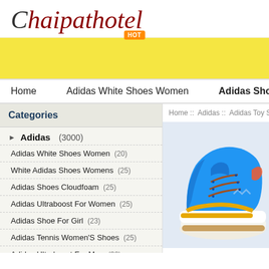Chaipathotel
[Figure (other): Yellow banner with HOT badge/label at top center]
Home   Adidas White Shoes Women   Adidas Shoes Clou...
Categories
Home :: Adidas :: Adidas Toy Story Shoes
Adidas (3000)
Adidas White Shoes Women (20)
White Adidas Shoes Womens (25)
Adidas Shoes Cloudfoam (25)
Adidas Ultraboost For Women (25)
Adidas Shoe For Girl (23)
Adidas Tennis Women'S Shoes (25)
Adidas Ultraboost For Men (30)
[Figure (photo): Blue and yellow Adidas sneaker shoe product photo on light grey background]